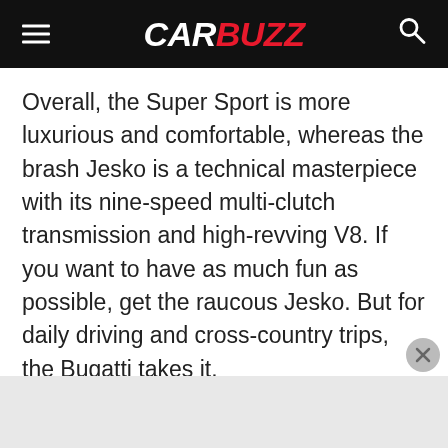CARBUZZ
Overall, the Super Sport is more luxurious and comfortable, whereas the brash Jesko is a technical masterpiece with its nine-speed multi-clutch transmission and high-revving V8. If you want to have as much fun as possible, get the raucous Jesko. But for daily driving and cross-country trips, the Bugatti takes it.
See Koenigsegg Jesko Review
Bugatti Chiron Super Sport Popular